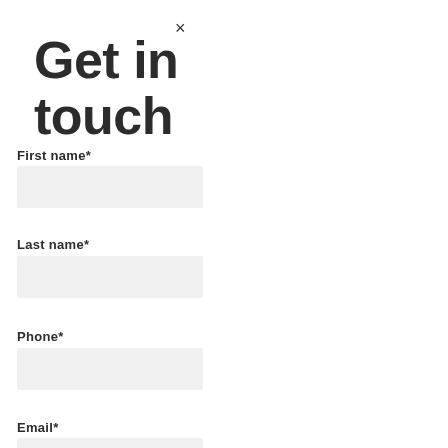Get in touch
×
First name*
[Figure (other): Empty text input field for First name]
Last name*
[Figure (other): Empty text input field for Last name]
Phone*
[Figure (other): Empty text input field for Phone]
Email*
[Figure (other): Empty text input field for Email]